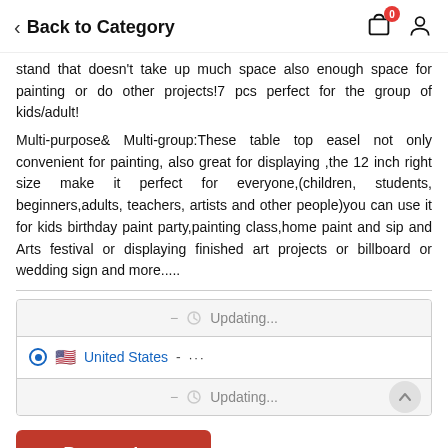Back to Category
stand that doesn't take up much space also enough space for painting or do other projects!7 pcs perfect for the group of kids/adult!
Multi-purpose& Multi-group:These table top easel not only convenient for painting, also great for displaying ,the 12 inch right size make it perfect for everyone,(children, students, beginners,adults, teachers, artists and other people)you can use it for kids birthday paint party,painting class,home paint and sip and Arts festival or displaying finished art projects or billboard or wedding sign and more.....
- Updating...
United States - ...
- Updating...
Buy product